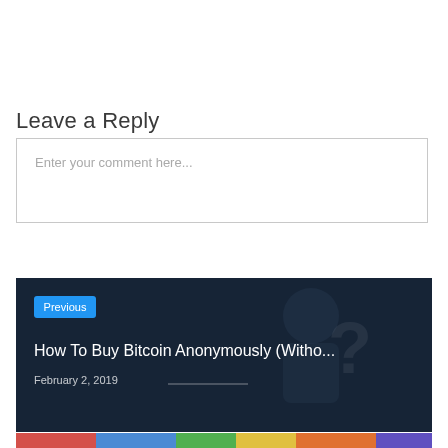Leave a Reply
Enter your comment here...
[Figure (screenshot): Navigation card with dark blue/teal background showing a silhouette with a question mark. Contains a 'Previous' blue badge, title 'How To Buy Bitcoin Anonymously (Witho...' and date 'February 2, 2019']
Previous
How To Buy Bitcoin Anonymously (Witho...
February 2, 2019